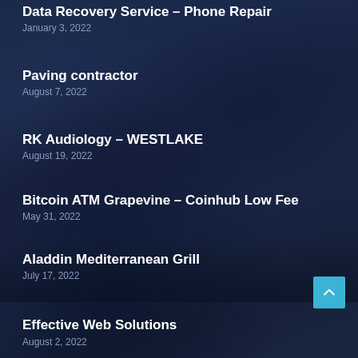Data Recovery Service – Phone Repair
January 3, 2022
Paving contractor
August 7, 2022
RK Audiology – WESTLAKE
August 19, 2022
Bitcoin ATM Grapevine – Coinhub Low Fee
May 31, 2022
Aladdin Mediterranean Grill
July 17, 2022
Effective Web Solutions
August 2, 2022